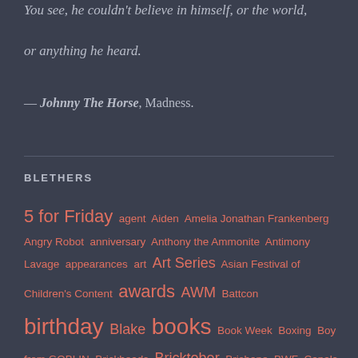You see, he couldn't believe in himself, or the world, or anything he heard.
— Johnny The Horse, Madness.
BLETHERS
5 for Friday agent Aiden Amelia Jonathan Frankenberg Angry Robot anniversary Anthony the Ammonite Antimony Lavage appearances art Art Series Asian Festival of Children's Content awards AWM Battcon birthday Blake books Book Week Boxing Boy from GOBLIN Brickheads Bricktober Brisbane BWF Canals of Anguilar cartooning cassie charity Charlie Hebdo Choose Your Adventure christmas Connor